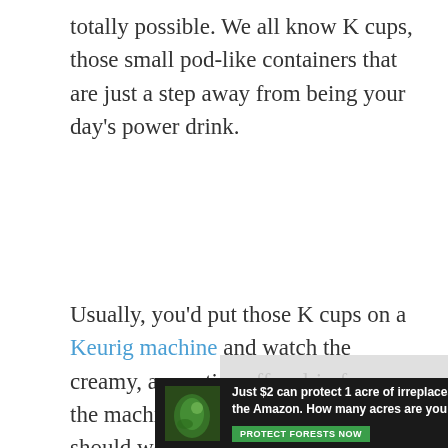totally possible. We all know K cups, those small pod-like containers that are just a step away from being your day's power drink.
Usually, you'd put those K cups on a Keurig machine and watch the creamy, aromatic coffee drip from the machine to your cup. But what should we do if our Keurig machine is malfunctioning, or if worse, you don't have one at all?
[Figure (other): Video overlay placeholder showing 'No compatible source was found for this media.' with a dismiss button, overlapping the article text and a partial word 'tic' visible to the right.]
[Figure (other): Advertisement banner with dark forest background showing a leaf/frog image on the left and bold white text: 'Just $2 can protect 1 acre of irreplaceable forest homes in the Amazon. How many acres are you willing to protect?' with a green 'PROTECT FORESTS NOW' button.]